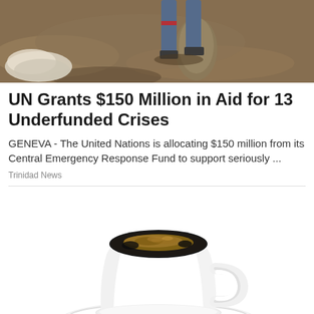[Figure (photo): Top portion of a photo showing feet/legs of a person standing on dry ground, with a piece of cloth/plastic visible on the left.]
UN Grants $150 Million in Aid for 13 Underfunded Crises
GENEVA -  The United Nations is allocating $150 million from its Central Emergency Response Fund to support seriously ...
Trinidad News
[Figure (photo): A white ceramic coffee cup filled with black coffee with a foamy/crema surface, sitting on a white saucer, on a white background.]